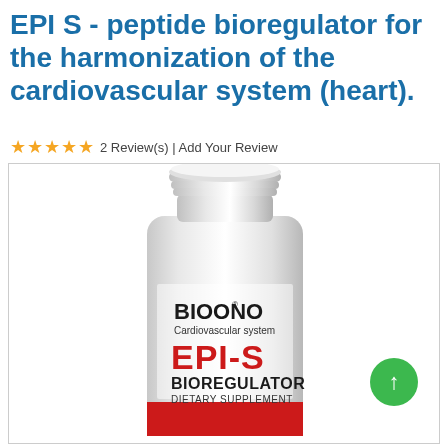EPI S - peptide bioregulator for the harmonization of the cardiovascular system (heart).
★★★★★ 2 Review(s) | Add Your Review
[Figure (photo): White cylindrical supplement bottle labeled BIOONO EPI-S Cardiovascular system Bioregulator Dietary Supplement with red accent band at base, shown against white background inside a bordered product box. A green circle with upward arrow appears at bottom right.]